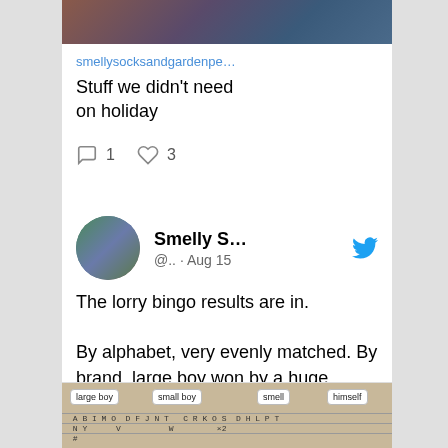[Figure (photo): Top portion of a photo showing people with backpacks, partially cropped]
smellysocksandgardenpe...
Stuff we didn't need on holiday
1  3
[Figure (photo): Round avatar photo of Smelly S... Twitter profile showing feet/shoes outdoors]
Smelly S...  @.. · Aug 15
The lorry bingo results are in.

By alphabet, very evenly matched. By brand, large boy won by a huge margin.
[Figure (photo): Handwritten lorry bingo results table with columns: large boy, small boy, smell, himself — rows showing letter tallies and brand names]